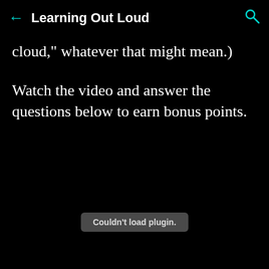← Learning Out Loud 🔍
cloud," whatever that might mean.)
Watch the video and answer the questions below to earn bonus points.
[Figure (screenshot): Couldn't load plugin error message box]